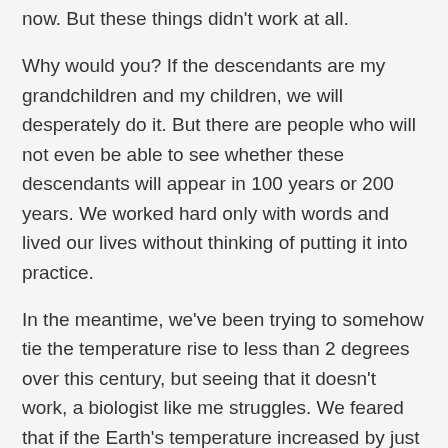now. But these things didn't work at all.
Why would you? If the descendants are my grandchildren and my children, we will desperately do it. But there are people who will not even be able to see whether these descendants will appear in 100 years or 200 years. We worked hard only with words and lived our lives without thinking of putting it into practice.
In the meantime, we've been trying to somehow tie the temperature rise to less than 2 degrees over this century, but seeing that it doesn't work, a biologist like me struggles. We feared that if the Earth's temperature increased by just 2 degrees, we could lose nearly half of the biodiversity we see today.
Seeing the outstanding leadership of Dr. Hoesung Lee, who is now the chairman of the Intergovernmental Panel on Climate Change (IPCC), I also ran the organization